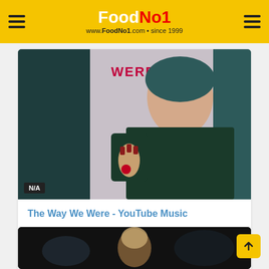FoodNo1 — www.FoodNo1.com • since 1999
[Figure (photo): Album art for The Way We Were — woman in dark green outfit holding something, with text 'WERE' visible. N/A badge in bottom left.]
The Way We Were - YouTube Music
General • 8th , 2021
music
83  0  0
[Figure (photo): Partially visible thumbnail of a video, showing a blonde woman, dark background.]